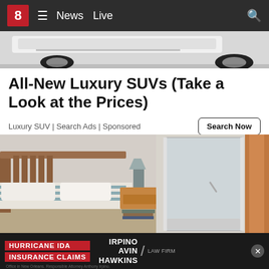8 News Live
[Figure (photo): Bottom of a luxury SUV/car, white background, showing undercarriage and wheel]
All-New Luxury SUVs (Take a Look at the Prices)
Luxury SUV | Search Ads | Sponsored
[Figure (photo): Bedroom interior with wooden bed frame and striped bedding on the left, and a walk-in tub/shower enclosure on the right]
[Figure (advertisement): Hurricane IDA Insurance Claims banner ad featuring Irpino Avin Hawkins Law Firm]